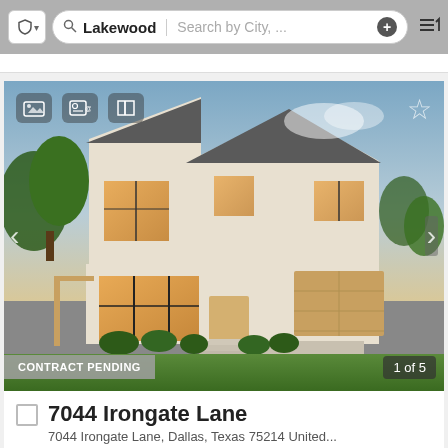[Figure (screenshot): Mobile app search bar with shield icon, search field showing 'Lakewood' and 'Search by City, ...' placeholder, plus button, and sort icon]
[Figure (photo): Two-story modern farmhouse with white/cream stucco exterior, dark window frames, wood garage door, landscaped front yard with steps, dusk lighting. Status: CONTRACT PENDING. Photo 1 of 5.]
CONTRACT PENDING
1 of 5
7044 Irongate Lane
7044 Irongate Lane, Dallas, Texas 75214 United...